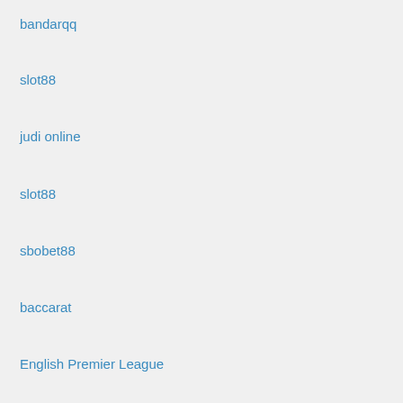bandarqq
slot88
judi online
slot88
sbobet88
baccarat
English Premier League